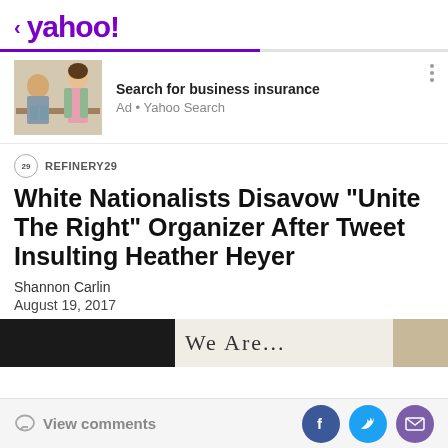< yahoo!
[Figure (photo): Advertisement banner with photo of two people (elderly man and younger woman in apron) and text 'Search for business insurance' and 'Ad • Yahoo Search']
REFINERY29
White Nationalists Disavow "Unite The Right" Organizer After Tweet Insulting Heather Heyer
Shannon Carlin
August 19, 2017
[Figure (photo): Bottom strip image showing protest sign with text 'We Are...' partially visible]
View comments